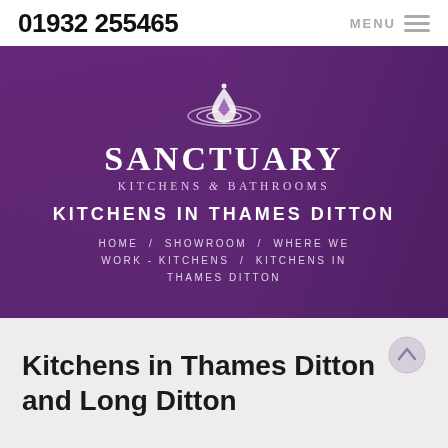01932 255465   MENU
[Figure (logo): Sanctuary Kitchens & Bathrooms hero banner with purple background, logo icon, brand name, and navigation breadcrumb. Text: SANCTUARY KITCHENS & BATHROOMS / KITCHENS IN THAMES DITTON / HOME / SHOWROOM / WHERE WE WORK - KITCHENS / KITCHENS IN THAMES DITTON]
Kitchens in Thames Ditton and Long Ditton